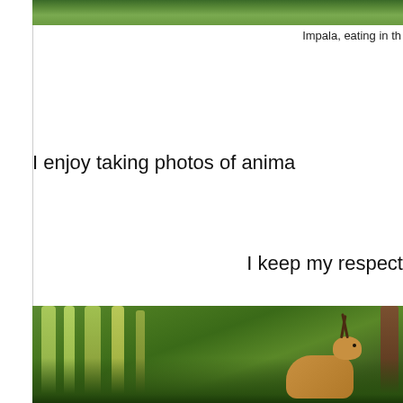[Figure (photo): Top portion of a photo showing green foliage and trees, partially cropped]
Impala, eating in th
I enjoy taking photos of anima
I keep my respect
[Figure (photo): Photo of an impala or kudu standing among dense green trees and vegetation in a forest/bush setting]